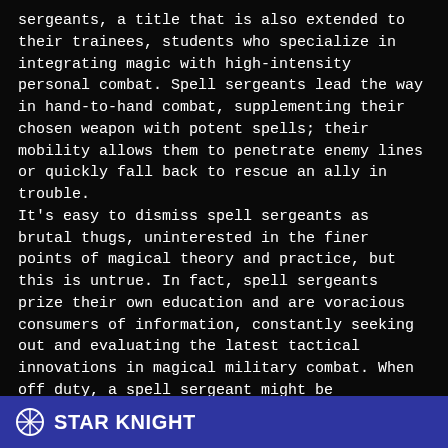sergeants, a title that is also extended to their trainees, students who specialize in integrating magic with high-intensity personal combat. Spell sergeants lead the way in hand-to-hand combat, supplementing their chosen weapon with potent spells; their mobility allows them to penetrate enemy lines or quickly fall back to rescue an ally in trouble.
It's easy to dismiss spell sergeants as brutal thugs, uninterested in the finer points of magical theory and practice, but this is untrue. In fact, spell sergeants prize their own education and are voracious consumers of information, constantly seeking out and evaluating the latest tactical innovations in magical military combat. When off duty, a spell sergeant might be practicing or carousing at a military bar, but they're just as likely to be found buried in a book.
Click here for full details.
Star Knight